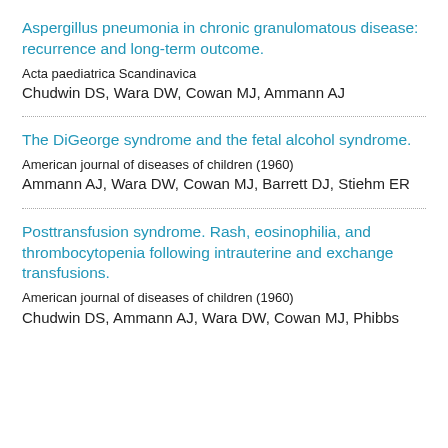Aspergillus pneumonia in chronic granulomatous disease: recurrence and long-term outcome.
Acta paediatrica Scandinavica
Chudwin DS, Wara DW, Cowan MJ, Ammann AJ
The DiGeorge syndrome and the fetal alcohol syndrome.
American journal of diseases of children (1960)
Ammann AJ, Wara DW, Cowan MJ, Barrett DJ, Stiehm ER
Posttransfusion syndrome. Rash, eosinophilia, and thrombocytopenia following intrauterine and exchange transfusions.
American journal of diseases of children (1960)
Chudwin DS, Ammann AJ, Wara DW, Cowan MJ, Phibbs